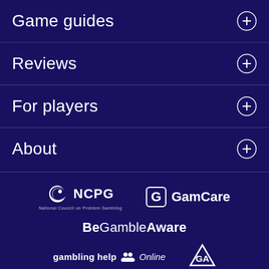Game guides +
Reviews +
For players +
About +
[Figure (logo): NCPG (National Council on Problem Gambling) logo with spiral icon and tagline]
[Figure (logo): GamCare logo with stylized G icon]
[Figure (logo): BeGambleAware logo in bold white text]
[Figure (logo): Gambling Help Online logo with people icon and italic Online text, plus GA logo]